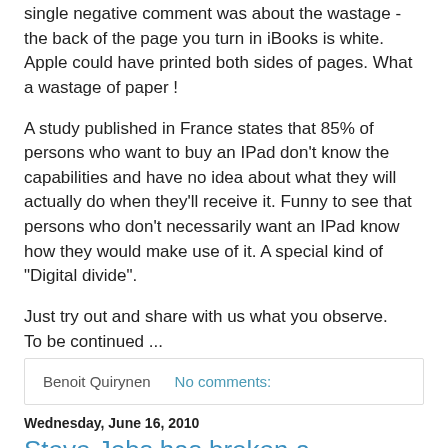single negative comment was about the wastage - the back of the page you turn in iBooks is white. Apple could have printed both sides of pages. What a wastage of paper !
A study published in France states that 85% of persons who want to buy an IPad don't know the capabilities and have no idea about what they will actually do when they'll receive it. Funny to see that persons who don't necessarily want an IPad know how they would make use of it. A special kind of "Digital divide".
Just try out and share with us what you observe.
To be continued ...
Benoit
Benoit Quirynen    No comments:
Wednesday, June 16, 2010
Steve Jobs has broken a thermometer.